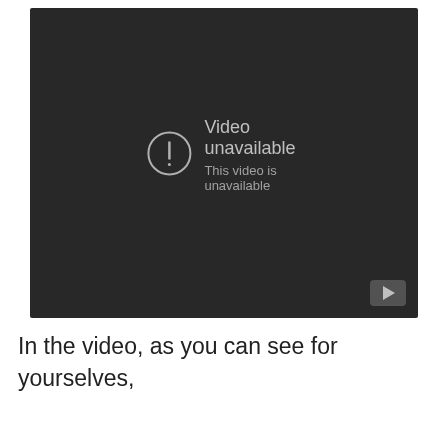[Figure (screenshot): YouTube video embed showing 'Video unavailable' error message on a dark background with a circular exclamation mark icon and a YouTube play button in the bottom right corner.]
In the video, as you can see for yourselves,